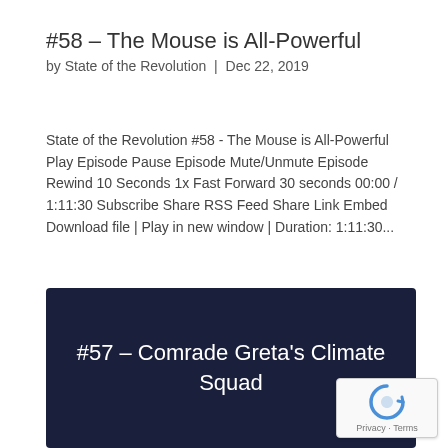#58 – The Mouse is All-Powerful
by State of the Revolution | Dec 22, 2019
State of the Revolution #58 - The Mouse is All-Powerful Play Episode Pause Episode Mute/Unmute Episode Rewind 10 Seconds 1x Fast Forward 30 seconds 00:00 / 1:11:30 Subscribe Share RSS Feed Share Link Embed Download file | Play in new window | Duration: 1:11:30...
#57 – Comrade Greta's Climate Squad
[Figure (logo): reCAPTCHA badge with recycling arrow logo and Privacy · Terms text]